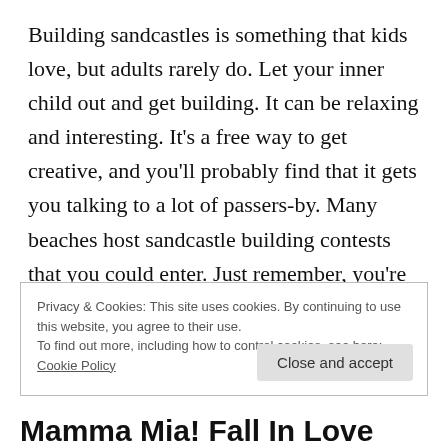Building sandcastles is something that kids love, but adults rarely do. Let your inner child out and get building. It can be relaxing and interesting. It's a free way to get creative, and you'll probably find that it gets you talking to a lot of passers-by. Many beaches host sandcastle building contests that you could enter. Just remember, you're not tied to castles. You can build a vast range of structures with sand. You just need your imagination.
Privacy & Cookies: This site uses cookies. By continuing to use this website, you agree to their use.
To find out more, including how to control cookies, see here: Cookie Policy
Close and accept
Mamma Mia! Fall In Love